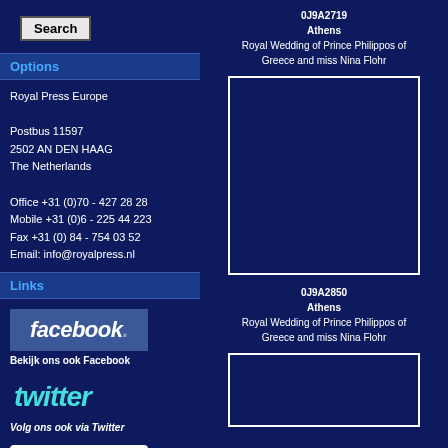Search
Options
Royal Press Europe

Postbus 11597
2502 AN DEN HAAG
The Netherlands

Office +31 (0)70 - 427 28 28
Mobile +31 (0)6 - 225 44 223
Fax +31 (0) 84 - 754 03 52
Email: info@royalpress.nl
Links
[Figure (logo): Facebook logo button]
Bekijk ons ook Facebook
[Figure (logo): Twitter logo]
Volg ons ook via Twitter
[Figure (logo): YouTube Royal Press Europe logo]
Bekijk ook ons Youtube kanaal
0J9A2719
Athens
Royal Wedding of Prince Philippos of Greece and miss Nina Flohr
[Figure (photo): Empty photo placeholder box 1]
0J9A2850
Athens
Royal Wedding of Prince Philippos of Greece and miss Nina Flohr
[Figure (photo): Empty photo placeholder box 2]